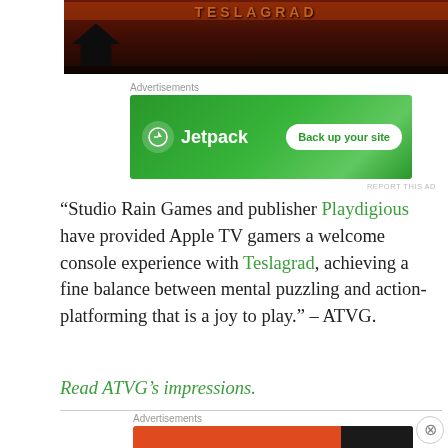[Figure (screenshot): Top portion of a game screenshot showing a dark reddish building/house silhouette scene from Teslagrad]
Advertisements
[Figure (screenshot): Jetpack advertisement banner with green background showing Jetpack logo and 'Back up your site' button]
REPORT THIS AD
“Studio Rain Games and publisher Playdigious have provided Apple TV gamers a welcome console experience with Teslagrad, achieving a fine balance between mental puzzling and action-platforming that is a joy to play.” – ATVG.
Read ATVG’s impressions.
Advertisements
[Figure (screenshot): DuckDuckGo advertisement banner with orange background showing 'Search, browse, and email with more privacy. All in One Free App' and DuckDuckGo logo]
REPORT THIS AD